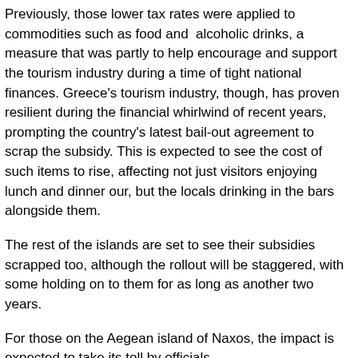Previously, those lower tax rates were applied to commodities such as food and  alcoholic drinks, a measure that was partly to help encourage and support the tourism industry during a time of tight national finances. Greece's tourism industry, though, has proven resilient during the financial whirlwind of recent years, prompting the country's latest bail-out agreement to scrap the subsidy. This is expected to see the cost of such items to rise, affecting not just visitors enjoying lunch and dinner our, but the locals drinking in the bars alongside them.
The rest of the islands are set to see their subsidies scrapped too, although the rollout will be staggered, with some holding on to them for as long as another two years.
For those on the Aegean island of Naxos, the impact is expected to take its toll by officials.